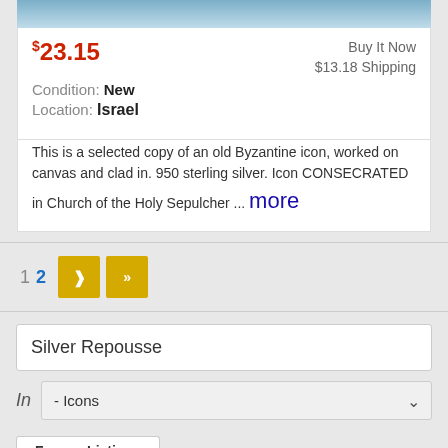[Figure (photo): Top portion of a listing image showing blue sky]
$23.15  Buy It Now  $13.18 Shipping  Condition: New  Location: Israel
This is a selected copy of an old Byzantine icon, worked on canvas and clad in. 950 sterling silver. Icon CONSECRATED in Church of the Holy Sepulcher ... more
1  2  >  >>
Silver Repousse
In  - Icons
Former Listings
Antique Russian 84 Silver Alloy